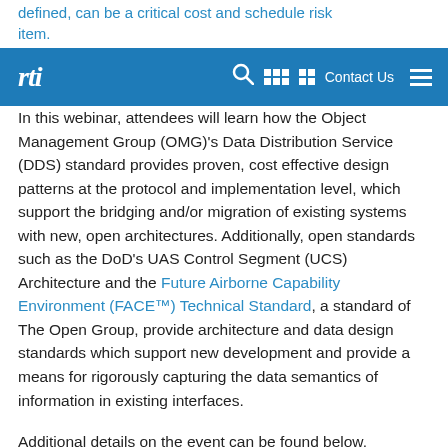defined, can be a critical cost and schedule risk item.
rti  [search icon] [grid icon] Contact Us [menu icon]
In this webinar, attendees will learn how the Object Management Group (OMG)'s Data Distribution Service (DDS) standard provides proven, cost effective design patterns at the protocol and implementation level, which support the bridging and/or migration of existing systems with new, open architectures. Additionally, open standards such as the DoD's UAS Control Segment (UCS) Architecture and the Future Airborne Capability Environment (FACE™) Technical Standard, a standard of The Open Group, provide architecture and data design standards which support new development and provide a means for rigorously capturing the data semantics of information in existing interfaces.
Additional details on the event can be found below.
Event Details